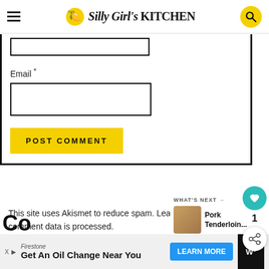This Silly Girl's Kitchen
[Figure (screenshot): Comment form with partially visible name input field, Email label and input, POST COMMENT button]
Email *
POST COMMENT
This site uses Akismet to reduce spam. Learn how comment data is processed.
WHAT'S NEXT → Pork Tenderloin...
[Figure (screenshot): Firestone advertisement: Get An Oil Change Near You with LEARN MORE button]